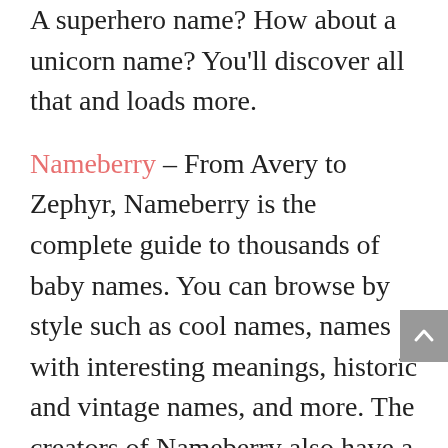A superhero name? How about a unicorn name? You'll discover all that and loads more.
Nameberry – From Avery to Zephyr, Nameberry is the complete guide to thousands of baby names. You can browse by style such as cool names, names with interesting meanings, historic and vintage names, and more. The creators of Nameberry also have a book out called Beyond Ava & Aiden,